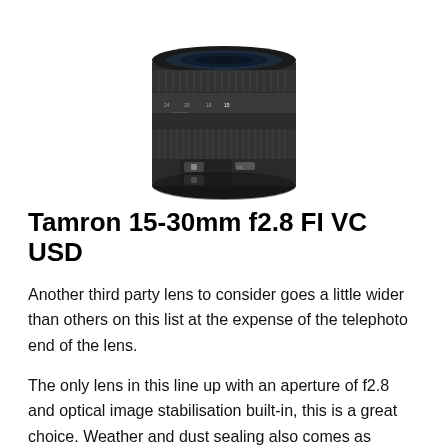[Figure (photo): Black Tamron 15-30mm f2.8 FI VC USD camera lens viewed from the front at a slight angle, showing the zoom ring, focus ring, and control switches on the barrel.]
Tamron 15-30mm f2.8 FI VC USD
Another third party lens to consider goes a little wider than others on this list at the expense of the telephoto end of the lens.
The only lens in this line up with an aperture of f2.8 and optical image stabilisation built-in, this is a great choice. Weather and dust sealing also comes as standard, so you can be confident at